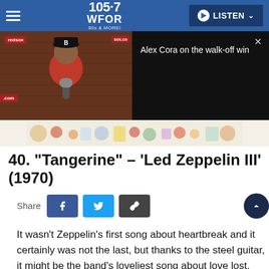105.7 WFOR | LISTEN
[Figure (screenshot): Video thumbnail showing Alex Cora (Boston Red Sox manager) at a press conference with redsox branding, alongside a dark video panel with text 'Alex Cora on the walk-off win' and a close button]
[Figure (photo): Decorative ad banner with colorful food and stationery items]
40. “Tangerine” – ‘Led Zeppelin III’ (1970)
Share
It wasn’t Zeppelin’s first song about heartbreak and it certainly was not the last, but thanks to the steel guitar, it might be the band’s loveliest song about love lost. (EB)